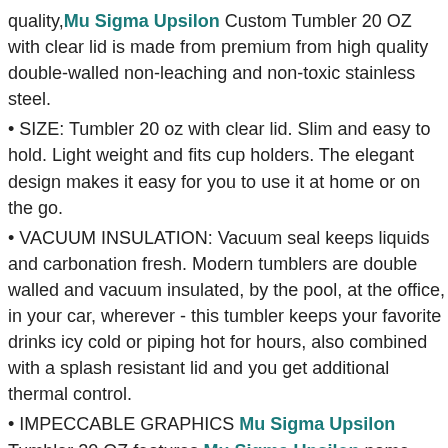quality, Mu Sigma Upsilon Custom Tumbler 20 OZ with clear lid is made from premium from high quality double-walled non-leaching and non-toxic stainless steel.
• SIZE: Tumbler 20 oz with clear lid. Slim and easy to hold. Light weight and fits cup holders. The elegant design makes it easy for you to use it at home or on the go.
• VACUUM INSULATION: Vacuum seal keeps liquids and carbonation fresh. Modern tumblers are double walled and vacuum insulated, by the pool, at the office, in your car, wherever - this tumbler keeps your favorite drinks icy cold or piping hot for hours, also combined with a splash resistant lid and you get additional thermal control.
• IMPECCABLE GRAPHICS Mu Sigma Upsilon Tumbler 20 OZ features Mu Sigma Upsilon name, logo, and motto. This popular tumbler design is great for both men and women.
• MULTI PURPOSES: Our Mu Sigma Upsilon Tumblers 20 OZ with Ringed base and clear lid is suitable for any indoor or outdoor places. Fit for enjoying drinks at home, on the beach, by the lake, on the road, in the office, at the grocery shopping, etc.